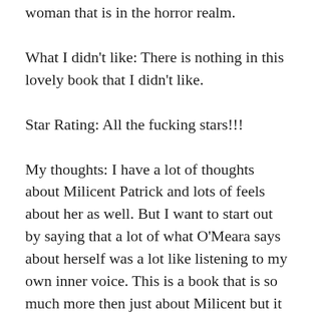woman that is in the horror realm.
What I didn't like: There is nothing in this lovely book that I didn't like.
Star Rating: All the fucking stars!!!
My thoughts: I have a lot of thoughts about Milicent Patrick and lots of feels about her as well. But I want to start out by saying that a lot of what O'Meara says about herself was a lot like listening to my own inner voice. This is a book that is so much more then just about Milicent but it is for all us spooky girls and creative types. Growing up I took a lot of flack for wanting to be home early on Saturday Nights to watch Friday the 13th the series, Monsters or the fright night features. My friends never have been able to understand my love for horror